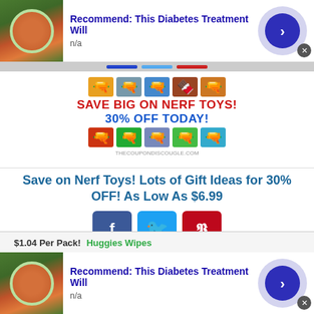[Figure (screenshot): Ad banner top: thumbnail image of orange liquid in bowl with green leaves, title 'Recommend: This Diabetes Treatment Will', subtitle 'n/a', blue arrow button, close X]
[Figure (screenshot): Nerf toys promotional image with toy guns arranged in rows, text 'SAVE BIG ON NERF TOYS!' and '30% OFF TODAY!']
Save on Nerf Toys! Lots of Gift Ideas for 30% OFF! As Low As $6.99
[Figure (screenshot): Social share buttons: Facebook (f), Twitter (bird), Pinterest (P)]
$1.04 Per Pack!   Huggies Wipes
[Figure (screenshot): Ad banner bottom: thumbnail image of orange liquid in bowl with green leaves, title 'Recommend: This Diabetes Treatment Will', subtitle 'n/a', blue arrow button, close X]